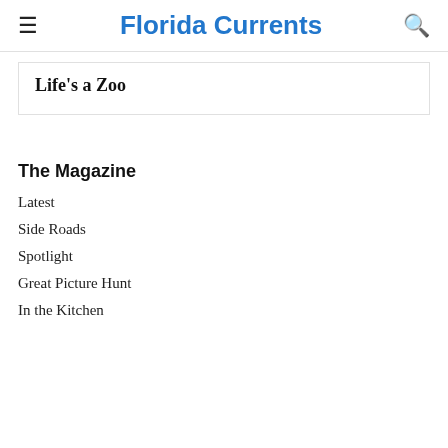Florida Currents
Life's a Zoo
The Magazine
Latest
Side Roads
Spotlight
Great Picture Hunt
In the Kitchen